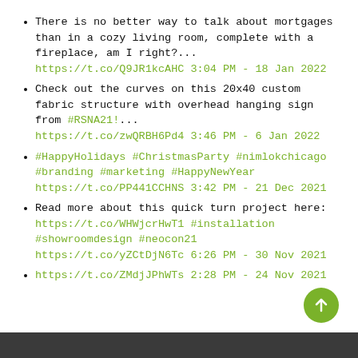There is no better way to talk about mortgages than in a cozy living room, complete with a fireplace, am I right?... https://t.co/Q9JR1kcAHC 3:04 PM - 18 Jan 2022
Check out the curves on this 20x40 custom fabric structure with overhead hanging sign from #RSNA21!... https://t.co/zwQRBH6Pd4 3:46 PM - 6 Jan 2022
#HappyHolidays #ChristmasParty #nimlokchicago #branding #marketing #HappyNewYear https://t.co/PP441CCHNS 3:42 PM - 21 Dec 2021
Read more about this quick turn project here: https://t.co/WHWjcrHwT1 #installation #showroomdesign #neocon21 https://t.co/yZCtDjN6Tc 6:26 PM - 30 Nov 2021
https://t.co/ZMdjJPhWTs 2:28 PM - 24 Nov 2021